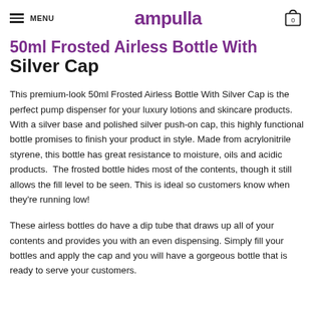MENU | Ampulla | 0
50ml Frosted Airless Bottle With Silver Cap
This premium-look 50ml Frosted Airless Bottle With Silver Cap is the perfect pump dispenser for your luxury lotions and skincare products. With a silver base and polished silver push-on cap, this highly functional bottle promises to finish your product in style. Made from acrylonitrile styrene, this bottle has great resistance to moisture, oils and acidic products.  The frosted bottle hides most of the contents, though it still allows the fill level to be seen. This is ideal so customers know when they're running low!
These airless bottles do have a dip tube that draws up all of your contents and provides you with an even dispensing. Simply fill your bottles and apply the cap and you will have a gorgeous bottle that is ready to serve your customers.